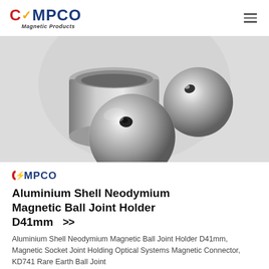CMPCO Magnetic Products
[Figure (photo): Aluminium shell metallic ball joint holders - two spherical balls with holes and one cylindrical container, all in polished silver/chrome finish, photographed on light grey background]
[Figure (logo): CMPCO logo - red C with lightning bolt and blue MPCO text]
Aluminium Shell Neodymium Magnetic Ball Joint Holder D41mm >>
Aluminium Shell Neodymium Magnetic Ball Joint Holder D41mm, Magnetic Socket Joint Holding Optical Systems Magnetic Connector, KD741 Rare Earth Ball Joint